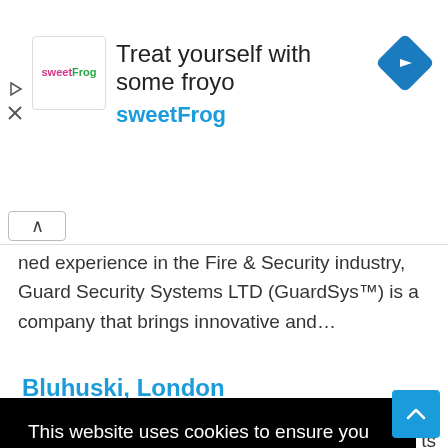[Figure (screenshot): Advertisement banner for sweetFrog frozen yogurt. Contains sweetFrog logo, text 'Treat yourself with some froyo', 'sweetFrog' subtitle in cyan, and a blue navigation/directions diamond icon on the right.]
ned experience in the Fire & Security industry, Guard Security Systems LTD (GuardSys™) is a company that brings innovative and...
Bluhuski, London
[Figure (screenshot): Cookie consent overlay with black background. Text: 'This website uses cookies to ensure you get the best experience on our website.' with 'Learn more' underlined link and yellow 'Got it!' button.]
consultation and a discounted price by 20%.